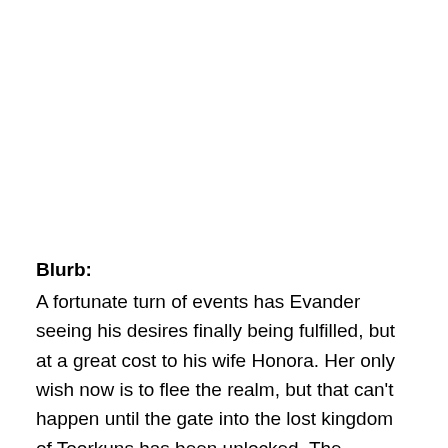Blurb:
A fortunate turn of events has Evander seeing his desires finally being fulfilled, but at a great cost to his wife Honora. Her only wish now is to flee the realm, but that can't happen until the gate into the lost kingdom of Toorkuns has been unlocked. The moment it is, all the creatures in Reynes will have their full powers restored, and balance of rule will shift to the dark magic beings.